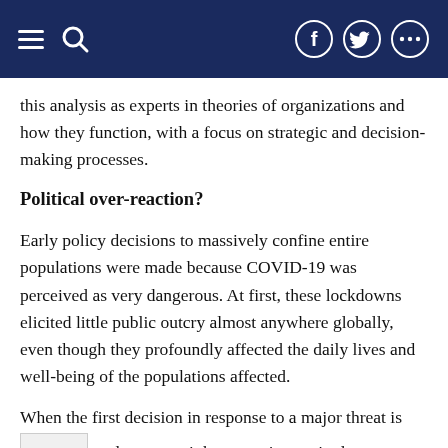Navigation bar with hamburger menu, search icon, Facebook, Twitter, and more icons
this analysis as experts in theories of organizations and how they function, with a focus on strategic and decision-making processes.
Political over-reaction?
Early policy decisions to massively confine entire populations were made because COVID-19 was perceived as very dangerous. At first, these lockdowns elicited little public outcry almost anywhere globally, even though they profoundly affected the daily lives and well-being of the populations affected.
When the first decision in response to a major threat is [large] and extreme, it becomes increasingly challenging for authorities to reconsider or correct. Yet these